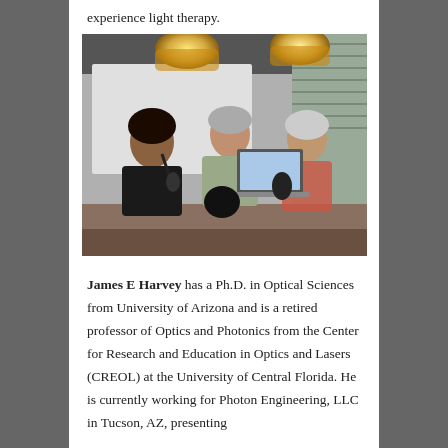experience light therapy.
[Figure (photo): Three people seated at a table with microphones and a laptop in what appears to be a podcast or radio studio setting, with overhead pendant lights visible in the background.]
James E Harvey has a Ph.D. in Optical Sciences from University of Arizona and is a retired professor of Optics and Photonics from the Center for Research and Education in Optics and Lasers (CREOL) at the University of Central Florida. He is currently working for Photon Engineering, LLC in Tucson, AZ, presenting